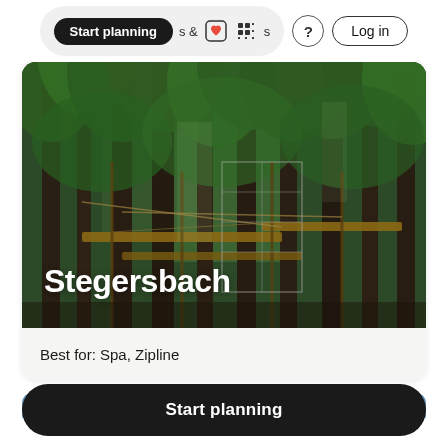Start planning | & tivities | ? | Log in
[Figure (photo): Forest with tall trees and adventure rope/zipline course structures visible, with the text 'Stegersbach' overlaid in white bold text]
Best for: Spa, Zipline
[Figure (photo): Partial view of a second destination card with blue sky]
Start planning